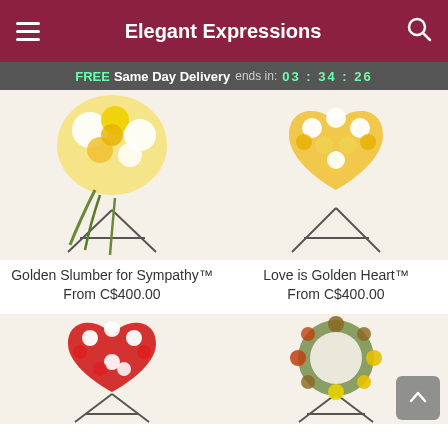Elegant Expressions
FREE Same Day Delivery ends in: 03:34:26
[Figure (photo): Yellow and white funeral spray flower arrangement on a metal stand]
[Figure (photo): Yellow and white heart-shaped funeral flower arrangement on a metal stand]
Golden Slumber for Sympathy™
From C$400.00
Love is Golden Heart™
From C$400.00
[Figure (photo): Red and white heart-shaped funeral flower arrangement on a metal stand]
[Figure (photo): Autumn-themed round funeral wreath with pine cones, yellow flowers, and fall foliage on a metal stand]